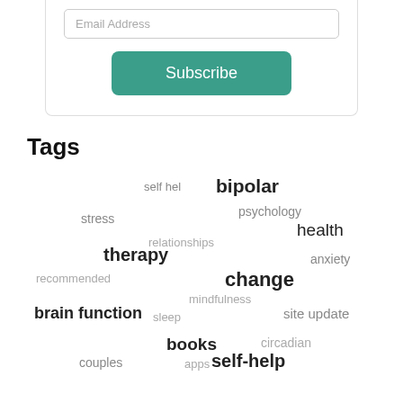[Figure (other): Subscribe form with email input field and teal Subscribe button]
Tags
[Figure (infographic): Tag cloud with mental health related tags: self help, bipolar, psychology, stress, health, relationships, therapy, anxiety, recommended, change, mindfulness, brain function, sleep, site update, books, circadian, couples, apps, self-help]